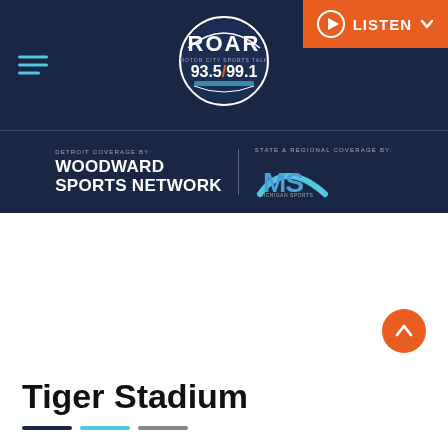[Figure (logo): ROAR 93.5/99.1 Motor City Sports Talk radio station logo in a circular badge, white and orange on dark navy background]
[Figure (logo): Orange and white LISTEN button with play icon and down chevron arrow]
[Figure (logo): Woodward Sports Network logo text in white on dark navy, with Detroit coverage label above]
[Figure (logo): Michigan Sports Network MS logo in blue and teal swoosh style, with State & Regional Coverage By label above]
[Figure (other): Orange circular scroll-to-top button with upward chevron arrow]
Tiger Stadium